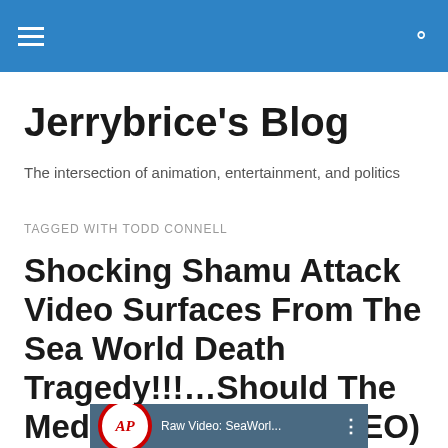Jerrybrice's Blog — header navigation bar
Jerrybrice's Blog
The intersection of animation, entertainment, and politics
TAGGED WITH TODD CONNELL
Shocking Shamu Attack Video Surfaces From The Sea World Death Tragedy!!!...Should The Media Show It?!?(VIDEO)
[Figure (screenshot): AP video thumbnail showing 'Raw Video: SeaWorl...' with AP logo circle and three-dot menu button]